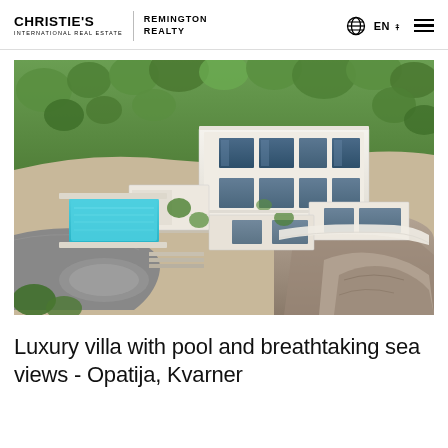CHRISTIE'S INTERNATIONAL REAL ESTATE | REMINGTON REALTY  EN
[Figure (photo): Aerial drone photograph of a modern luxury white villa with large glass windows, flat roof, and a turquoise swimming pool, set on a terraced hillside among Mediterranean trees and rocky terrain in Opatija, Kvarner, Croatia.]
Luxury villa with pool and breathtaking sea views - Opatija, Kvarner